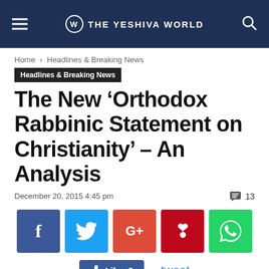THE YESHIVA WORLD
Home › Headlines & Breaking News
Headlines & Breaking News
The New ‘Orthodox Rabbinic Statement on Christianity’ – An Analysis
December 20, 2015 4:45 pm   💬 13
[Figure (infographic): Social share buttons: Facebook (f), Twitter (bird), Google+, Pinterest (p), WhatsApp; Like 0 button and tweet link]
Like 0   tweet